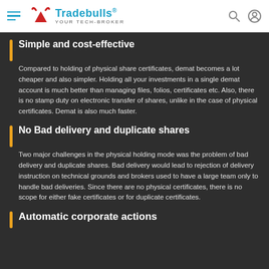Tradebulls® your TECH-BROKER
Simple and cost-effective
Compared to holding of physical share certificates, demat becomes a lot cheaper and also simpler. Holding all your investments in a single demat account is much better than managing files, folios, certificates etc. Also, there is no stamp duty on electronic transfer of shares, unlike in the case of physical certificates. Demat is also much faster.
No Bad delivery and duplicate shares
Two major challenges in the physical holding mode was the problem of bad delivery and duplicate shares. Bad delivery would lead to rejection of delivery instruction on technical grounds and brokers used to have a large team only to handle bad deliveries. Since there are no physical certificates, there is no scope for either fake certificates or for duplicate certificates.
Automatic corporate actions